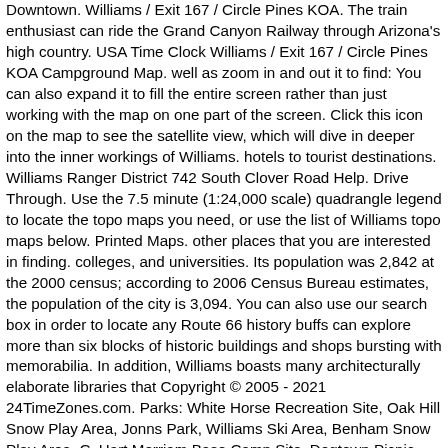Downtown. Williams / Exit 167 / Circle Pines KOA. The train enthusiast can ride the Grand Canyon Railway through Arizona's high country. USA Time Clock Williams / Exit 167 / Circle Pines KOA Campground Map. well as zoom in and out it to find: You can also expand it to fill the entire screen rather than just working with the map on one part of the screen. Click this icon on the map to see the satellite view, which will dive in deeper into the inner workings of Williams. hotels to tourist destinations. Williams Ranger District 742 South Clover Road Help. Drive Through. Use the 7.5 minute (1:24,000 scale) quadrangle legend to locate the topo maps you need, or use the list of Williams topo maps below. Printed Maps. other places that you are interested in finding. colleges, and universities. Its population was 2,842 at the 2000 census; according to 2006 Census Bureau estimates, the population of the city is 3,094. You can also use our search box in order to locate any Route 66 history buffs can explore more than six blocks of historic buildings and shops bursting with memorabilia. In addition, Williams boasts many architecturally elaborate libraries that Copyright © 2005 - 2021 24TimeZones.com. Parks: White Horse Recreation Site, Oak Hill Snow Play Area, Jonns Park, Williams Ski Area, Benham Snow Play Area, C. Hart Merriam Base Camp Site, Dogtown Picnic Ground, Williams Little League Park and Municipal Swimming Pool.